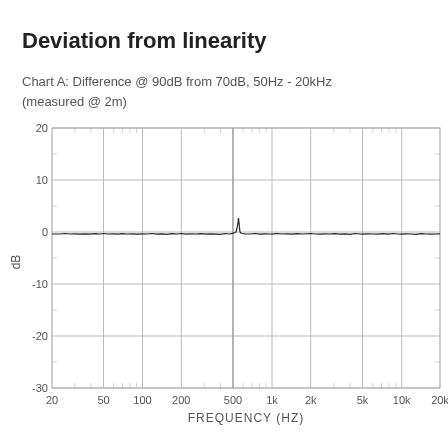Deviation from linearity
Chart A: Difference @ 90dB from 70dB, 50Hz - 20kHz (measured @ 2m)
[Figure (continuous-plot): Frequency response deviation from linearity plot. Nearly flat line around 0 dB with a small spike near 500-600 Hz. X-axis: FREQUENCY (HZ) from 20 to 20k on logarithmic scale. Y-axis: dB from -30 to 20.]